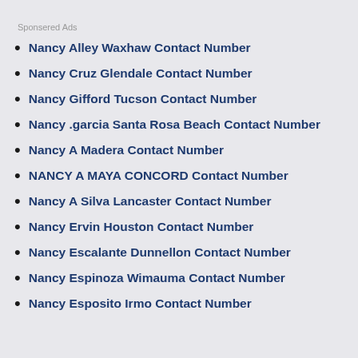Sponsered Ads
Nancy Alley Waxhaw Contact Number
Nancy Cruz Glendale Contact Number
Nancy Gifford Tucson Contact Number
Nancy .garcia Santa Rosa Beach Contact Number
Nancy A Madera Contact Number
NANCY A MAYA CONCORD Contact Number
Nancy A Silva Lancaster Contact Number
Nancy Ervin Houston Contact Number
Nancy Escalante Dunnellon Contact Number
Nancy Espinoza Wimauma Contact Number
Nancy Esposito Irmo Contact Number